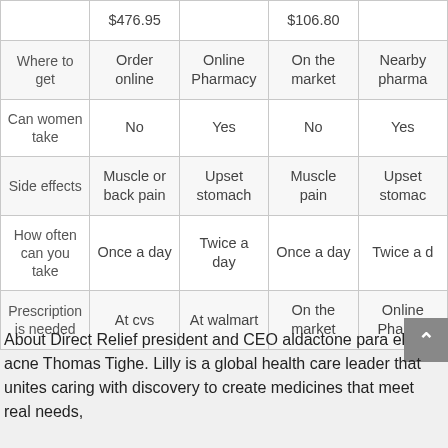|  | Col1 | Online Pharmacy | $106.80 | Nearby pharma |
| --- | --- | --- | --- | --- |
| Where to get | Order online | Online Pharmacy | On the market | Nearby pharma |
| Can women take | No | Yes | No | Yes |
| Side effects | Muscle or back pain | Upset stomach | Muscle pain | Upset stomac |
| How often can you take | Once a day | Twice a day | Once a day | Twice a d |
| Prescription is needed | At cvs | At walmart | On the market | Online Pharma |
About Direct Relief president and CEO aldactone para el acne Thomas Tighe. Lilly is a global health care leader that unites caring with discovery to create medicines that meet real needs,